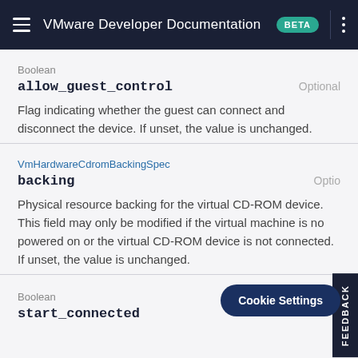VMware Developer Documentation BETA
Boolean
allow_guest_control
Optional
Flag indicating whether the guest can connect and disconnect the device. If unset, the value is unchanged.
VmHardwareCdromBackingSpec
backing
Optional
Physical resource backing for the virtual CD-ROM device. This field may only be modified if the virtual machine is not powered on or the virtual CD-ROM device is not connected. If unset, the value is unchanged.
Boolean
start_connected